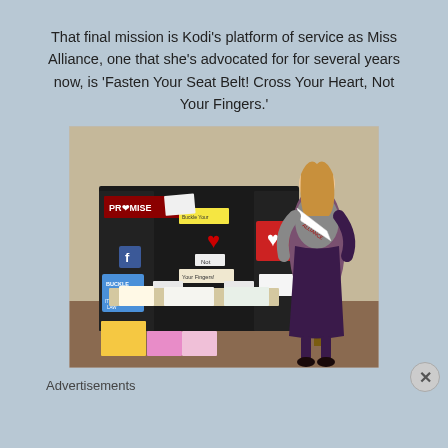That final mission is Kodi’s platform of service as Miss Alliance, one that she’s advocated for for several years now, is ‘Fasten Your Seat Belt! Cross Your Heart, Not Your Fingers.’
[Figure (photo): A young woman wearing a white Miss Alliance sash over a grey top and dark purple skirt, standing beside a black tri-fold display board with seat belt safety campaign materials including a 'PROMISE' banner, 'BUCKLE UP IT'S THE LAW' sign, heart decorations, and various pamphlets and materials on a table.]
Advertisements